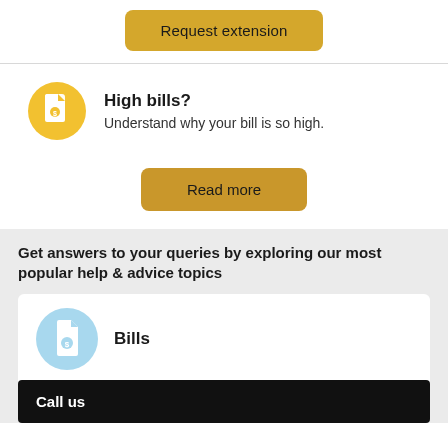Request extension
High bills?
Understand why your bill is so high.
Read more
Get answers to your queries by exploring our most popular help & advice topics
Bills
Call us